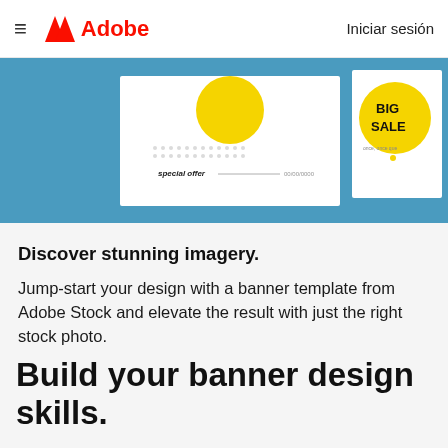Adobe — Iniciar sesión
[Figure (screenshot): Adobe webpage screenshot showing banner design templates: one with a yellow circle and 'special offer' text, another with 'BIG SALE' text on a blue background]
Discover stunning imagery.
Jump-start your design with a banner template from Adobe Stock and elevate the result with just the right stock photo.
Build your banner design skills.